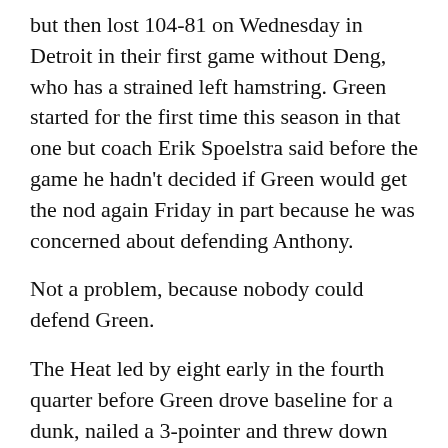but then lost 104-81 on Wednesday in Detroit in their first game without Deng, who has a strained left hamstring. Green started for the first time this season in that one but coach Erik Spoelstra said before the game he hadn't decided if Green would get the nod again Friday in part because he was concerned about defending Anthony.
Not a problem, because nobody could defend Green.
The Heat led by eight early in the fourth quarter before Green drove baseline for a dunk, nailed a 3-pointer and threw down another dunk on an alley-oop to make it 85-70. After a basket by Porzingis, Green made another jumper, then followed Justise Winslow's basket with another 3 that put it away at 92-72 with just under 6 minutes to play.